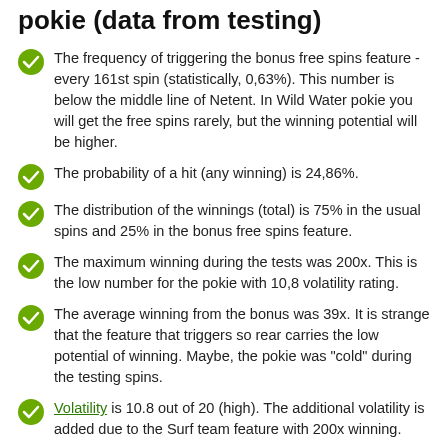pokie (data from testing)
The frequency of triggering the bonus free spins feature - every 161st spin (statistically, 0,63%). This number is below the middle line of Netent. In Wild Water pokie you will get the free spins rarely, but the winning potential will be higher.
The probability of a hit (any winning) is 24,86%.
The distribution of the winnings (total) is 75% in the usual spins and 25% in the bonus free spins feature.
The maximum winning during the tests was 200x. This is the low number for the pokie with 10,8 volatility rating.
The average winning from the bonus was 39x. It is strange that the feature that triggers so rear carries the low potential of winning. Maybe, the pokie was "cold" during the testing spins.
Volatility is 10.8 out of 20 (high). The additional volatility is added due to the Surf team feature with 200x winning.
The rating for the wagering is 3.5 out of 10. Our testing